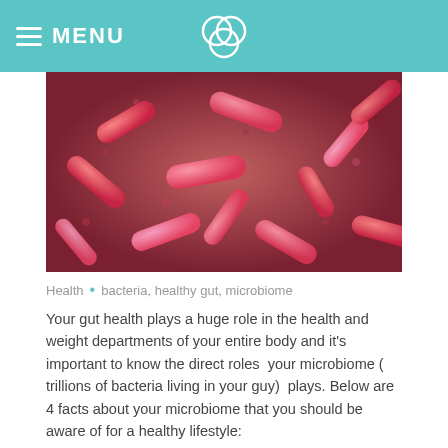MENU
[Figure (photo): Microscopic image of pink and red bacteria (bacilli) clustered together, viewed from above on a textured background.]
Health • bacteria, healthy gut, microbiome
Your gut health plays a huge role in the health and weight departments of your entire body and it's important to know the direct roles your microbiome ( trillions of bacteria living in your guy) plays. Below are 4 facts about your microbiome that you should be aware of for a healthy lifestyle:
It's the